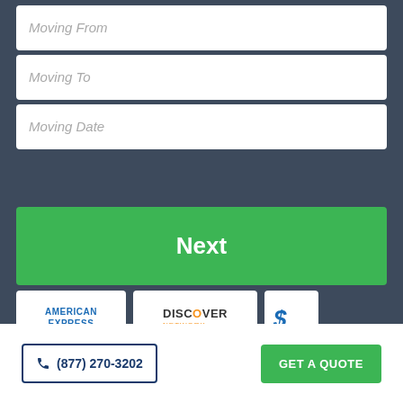Moving From
Moving To
Moving Date
Next
[Figure (logo): American Express logo - blue text on white card]
[Figure (logo): Discover Network logo - white card with orange circle]
[Figure (logo): Visa logo - partially visible blue italic text on white card]
[Figure (logo): Mastercard logo - partially visible overlapping red and orange circles]
[Figure (logo): reCAPTCHA logo - partially visible]
(877) 270-3202
GET A QUOTE